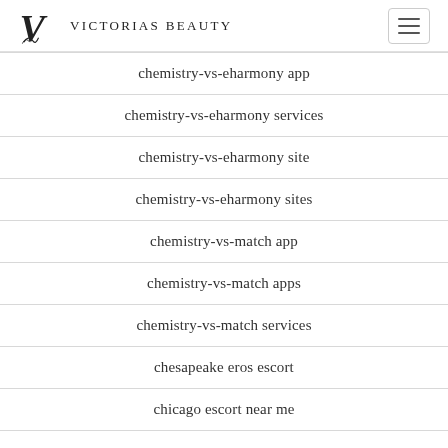Victorias Beauty
chemistry-vs-eharmony app
chemistry-vs-eharmony services
chemistry-vs-eharmony site
chemistry-vs-eharmony sites
chemistry-vs-match app
chemistry-vs-match apps
chemistry-vs-match services
chesapeake eros escort
chicago escort near me